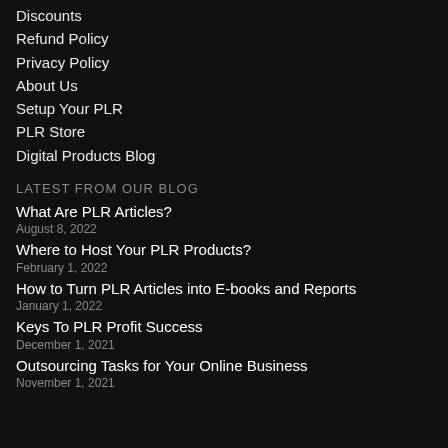Discounts
Refund Policy
Privacy Policy
About Us
Setup Your PLR
PLR Store
Digital Products Blog
LATEST FROM OUR BLOG
What Are PLR Articles?
August 8, 2022
Where to Host Your PLR Products?
February 1, 2022
How to Turn PLR Articles into E-books and Reports
January 1, 2022
Keys To PLR Profit Success
December 1, 2021
Outsourcing Tasks for Your Online Business
November 1, 2021